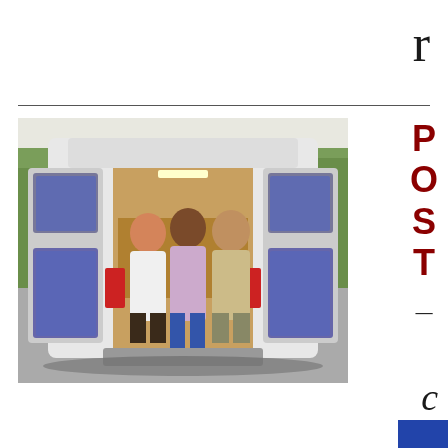r
[Figure (photo): Three people standing at the open rear doors of a white camper van in a parking lot. The van doors are open showing the interior. The people are smiling and posing.]
POST_
c
ç